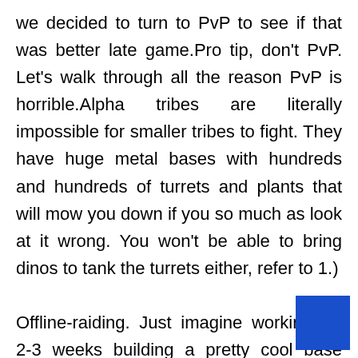we decided to turn to PvP to see if that was better late game.Pro tip, don't PvP. Let's walk through all the reason PvP is horrible.Alpha tribes are literally impossible for smaller tribes to fight. They have huge metal bases with hundreds and hundreds of turrets and plants that will mow you down if you so much as look at it wrong. You won't be able to bring dinos to tank the turrets either, refer to 1.)

Offline-raiding. Just imagine working for 2-3 weeks building a pretty cool base completely surrounded by plant-x and taming about 20 dinos then logging on to see a smoking crater where your base
[Figure (other): A solid blue square decorative element in the bottom-right corner]